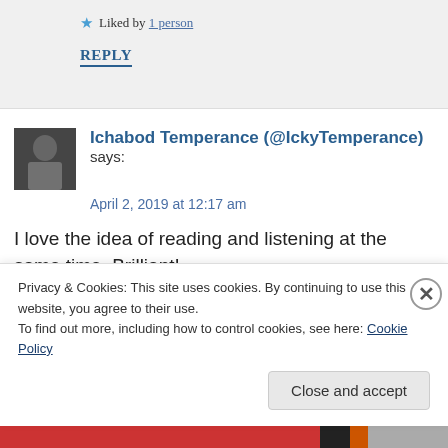★ Liked by 1 person
REPLY
Ichabod Temperance (@IckyTemperance) says:
April 2, 2019 at 12:17 am
I love the idea of reading and listening at the same time. Brilliant!
Privacy & Cookies: This site uses cookies. By continuing to use this website, you agree to their use. To find out more, including how to control cookies, see here: Cookie Policy
Close and accept